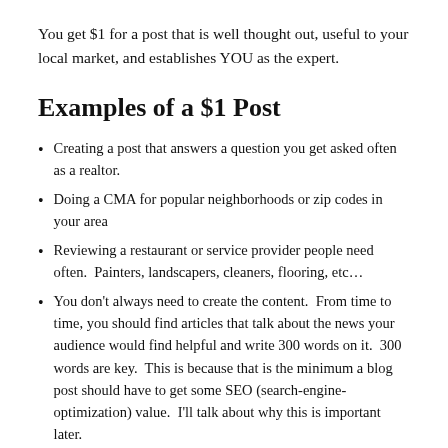You get $1 for a post that is well thought out, useful to your local market, and establishes YOU as the expert.
Examples of a $1 Post
Creating a post that answers a question you get asked often as a realtor.
Doing a CMA for popular neighborhoods or zip codes in your area
Reviewing a restaurant or service provider people need often.  Painters, landscapers, cleaners, flooring, etc…
You don't always need to create the content.  From time to time, you should find articles that talk about the news your audience would find helpful and write 300 words on it.  300 words are key.  This is because that is the minimum a blog post should have to get some SEO (search-engine-optimization) value.  I'll talk about why this is important later.